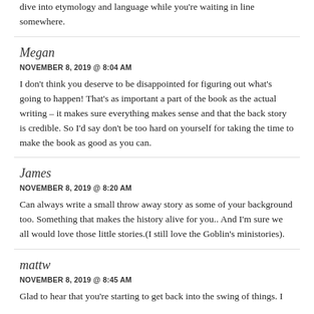dive into etymology and language while you're waiting in line somewhere.
Megan
NOVEMBER 8, 2019 @ 8:04 AM
I don't think you deserve to be disappointed for figuring out what's going to happen! That's as important a part of the book as the actual writing – it makes sure everything makes sense and that the back story is credible. So I'd say don't be too hard on yourself for taking the time to make the book as good as you can.
James
NOVEMBER 8, 2019 @ 8:20 AM
Can always write a small throw away story as some of your background too. Something that makes the history alive for you.. And I'm sure we all would love those little stories.(I still love the Goblin's ministories).
mattw
NOVEMBER 8, 2019 @ 8:45 AM
Glad to hear that you're starting to get back into the swing of things. I